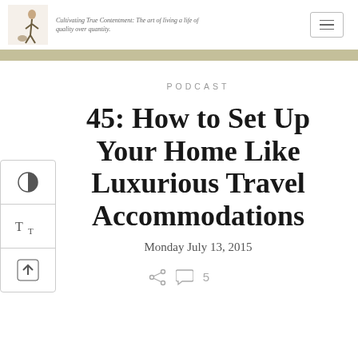Cultivating True Contentment: The art of living a life of quality over quantity.
PODCAST
45: How to Set Up Your Home Like Luxurious Travel Accommodations
Monday July 13, 2015